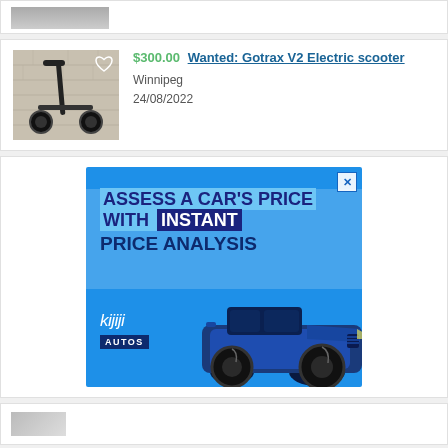[Figure (photo): Partial listing card showing a cropped photo at the top of the page]
[Figure (photo): Electric scooter (Gotrax style) standing on brick pavement]
$300.00 Wanted: Gotrax V2 Electric scooter
Winnipeg
24/08/2022
[Figure (illustration): Kijiji Autos advertisement banner with blue background. Text reads: ASSESS A CAR'S PRICE WITH INSTANT PRICE ANALYSIS. Shows a blue Ford F-150 Raptor truck and the Kijiji Autos logo.]
[Figure (photo): Partial listing card at bottom of page showing a cropped thumbnail image]